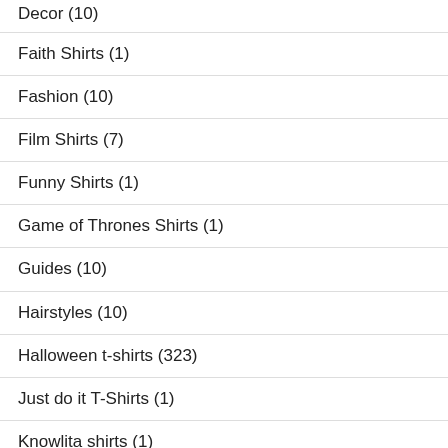Decor (10)
Faith Shirts (1)
Fashion (10)
Film Shirts (7)
Funny Shirts (1)
Game of Thrones Shirts (1)
Guides (10)
Hairstyles (10)
Halloween t-shirts (323)
Just do it T-Shirts (1)
Knowlita shirts (1)
Make christmas great again Shirts (1)